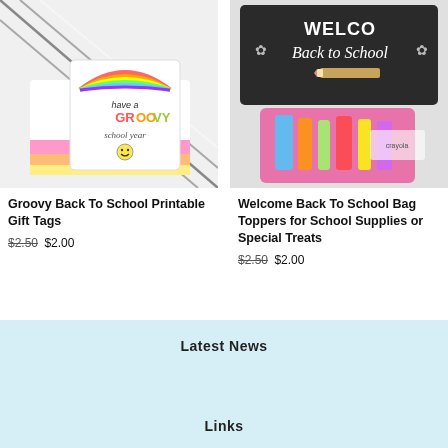[Figure (photo): Groovy back to school printable gift tag with rainbow and smiley face, tied with black and white string]
Groovy Back To School Printable Gift Tags
$2.50 $2.00
[Figure (photo): Welcome Back to School chalkboard sign with school supplies bag toppers in pink]
Welcome Back To School Bag Toppers for School Supplies or Special Treats
$2.50 $2.00
Latest News
Links